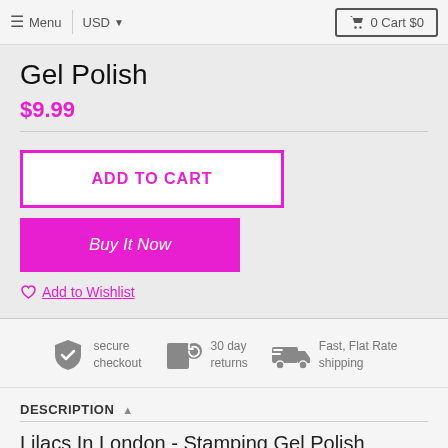Menu | USD ▾  🛒 0 Cart $0
Gel Polish
$9.99
ADD TO CART
Buy It Now
♡ Add to Wishlist
[Figure (infographic): Three trust icons: secure checkout (shield with checkmark), 30 day returns (box with refresh icon), Fast Flat Rate shipping (delivery truck)]
DESCRIPTION ▲
Lilacs In London - Stamping Gel Polish